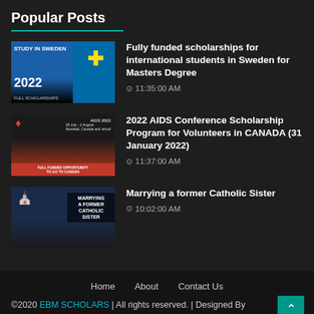Popular Posts
Fully funded scholarships for international students in Sweden for Masters Degree · 11:35:00 AM
2022 AIDS Conference Scholarship Program for Volunteers in CANADA (31 January 2022) · 11:37:00 AM
Marrying a former Catholic Sister · 10:02:00 AM
Home   About   Contact Us
©2020 EBM SCHOLARS | All rights reserved. | Designed By HellenMhondo